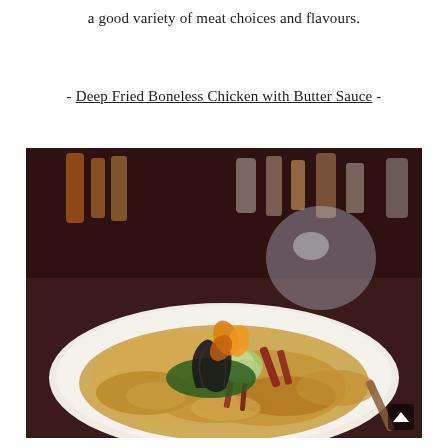a good variety of meat choices and flavours.
- Deep Fried Boneless Chicken with Butter Sauce -
[Figure (photo): A plate of Deep Fried Boneless Chicken with Butter Sauce, garnished with vegetable carvings including a black leaf decoration, an orange and green flower, and red and green vegetable strips, with a glass dome and condiment bottles blurred in the background.]